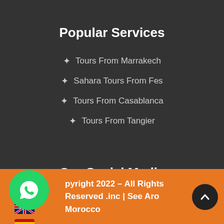Popular Services
Tours From Marrakech
Sahara Tours From Fes
Tours From Casablanca
Tours From Tangier
Our Social Media
[Figure (infographic): Social media icons: Facebook (blue circle), YouTube (red circle), Instagram (pink circle)]
Copyright 2022 – All Rights Reserved .inc | See Around Morocco